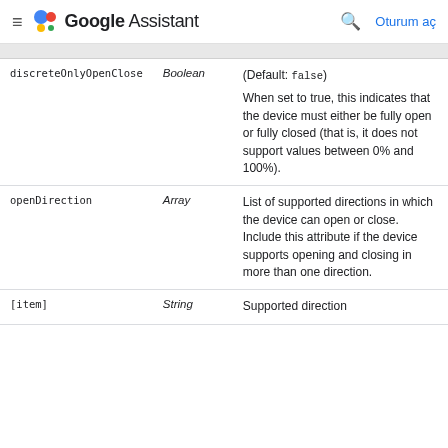Google Assistant — Oturum aç
| Attribute | Type | Description |
| --- | --- | --- |
| discreteOnlyOpenClose | Boolean | (Default: false)
When set to true, this indicates that the device must either be fully open or fully closed (that is, it does not support values between 0% and 100%). |
| openDirection | Array | List of supported directions in which the device can open or close. Include this attribute if the device supports opening and closing in more than one direction. |
| [item] | String | Supported direction |